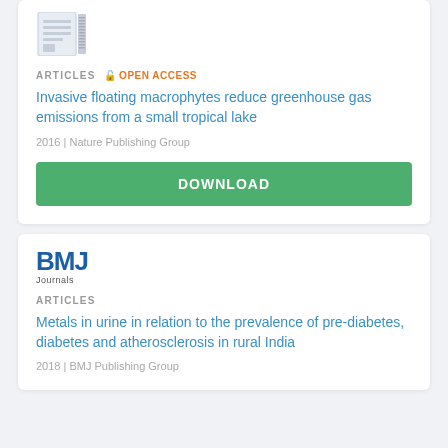[Figure (logo): Nature Publishing Group document/book icon logo]
ARTICLES  🔓 Open Access
Invasive floating macrophytes reduce greenhouse gas emissions from a small tropical lake
2016 | Nature Publishing Group
DOWNLOAD
[Figure (logo): BMJ Journals logo]
ARTICLES
Metals in urine in relation to the prevalence of pre-diabetes, diabetes and atherosclerosis in rural India
2018 | BMJ Publishing Group